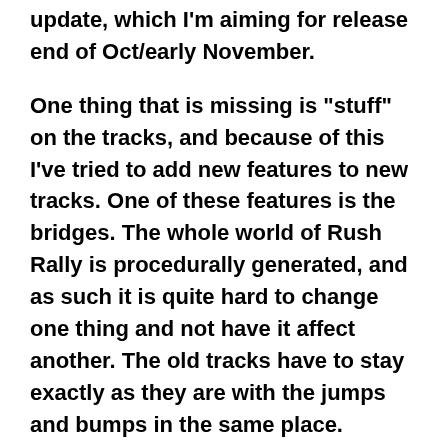update, which I'm aiming for release end of Oct/early November.
One thing that is missing is "stuff" on the tracks, and because of this I've tried to add new features to new tracks. One of these features is the bridges. The whole world of Rush Rally is procedurally generated, and as such it is quite hard to change one thing and not have it affect another. The old tracks have to stay exactly as they are with the jumps and bumps in the same place. Changing one bit of code could easily affect the outcome of the positioning of these bumps and then change the track which is already playable by users now.
So for bridges I came up with the idea